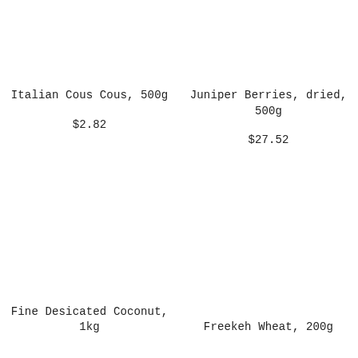Italian Cous Cous, 500g
$2.82
Juniper Berries, dried, 500g
$27.52
Fine Desicated Coconut, 1kg
Freekeh Wheat, 200g